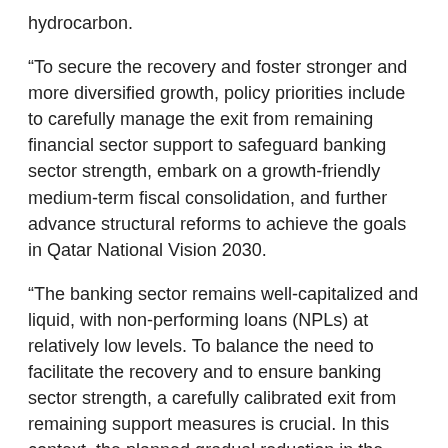hydrocarbon.
“To secure the recovery and foster stronger and more diversified growth, policy priorities include to carefully manage the exit from remaining financial sector support to safeguard banking sector strength, embark on a growth-friendly medium-term fiscal consolidation, and further advance structural reforms to achieve the goals in Qatar National Vision 2030.
“The banking sector remains well-capitalized and liquid, with non-performing loans (NPLs) at relatively low levels. To balance the need to facilitate the recovery and to ensure banking sector strength, a carefully calibrated exit from remaining support measures is crucial. In this context, the planned gradual reduction in the allocation for the zero-interest repo facility is welcome, while the strength of the economic recovery would allow the exit from the blanket loan moratorium in the near future—we recommend replacing it with time-bound measures targeting distressed but viable